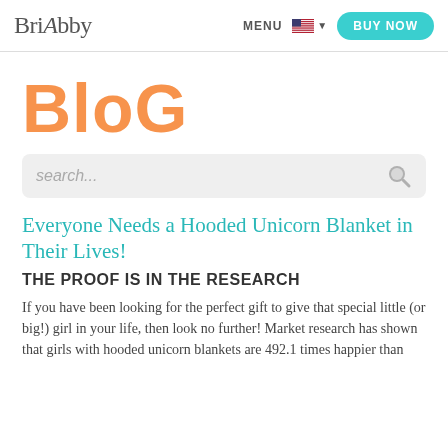BriAbby | MENU | BUY NOW
BLOG
search...
Everyone Needs a Hooded Unicorn Blanket in Their Lives!
THE PROOF IS IN THE RESEARCH
If you have been looking for the perfect gift to give that special little (or big!) girl in your life, then look no further! Market research has shown that girls with hooded unicorn blankets are 492.1 times happier than